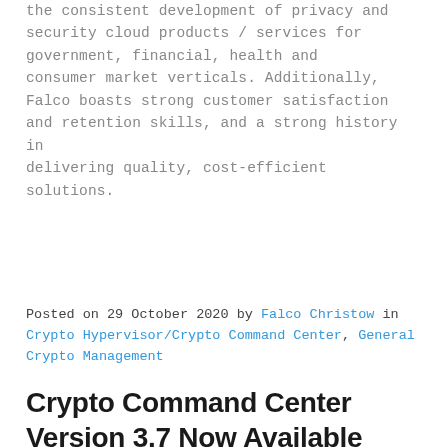the consistent development of privacy and security cloud products / services for government, financial, health and consumer market verticals. Additionally, Falco boasts strong customer satisfaction and retention skills, and a strong history in delivering quality, cost-efficient solutions.
Posted on 29 October 2020 by Falco Christow in Crypto Hypervisor/Crypto Command Center, General Crypto Management
Crypto Command Center Version 3.7 Now Available